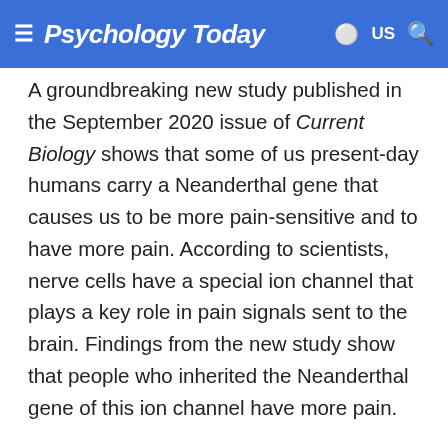Psychology Today — US
A groundbreaking new study published in the September 2020 issue of Current Biology shows that some of us present-day humans carry a Neanderthal gene that causes us to be more pain-sensitive and to have more pain. According to scientists, nerve cells have a special ion channel that plays a key role in pain signals sent to the brain. Findings from the new study show that people who inherited the Neanderthal gene of this ion channel have more pain.
Using available Neanderthal DNA allows scientists to identify genetic changes present in Neanderthals. Hugo Zeberg, Svante Pääbo ,and their colleagues compared at the Max Planck...